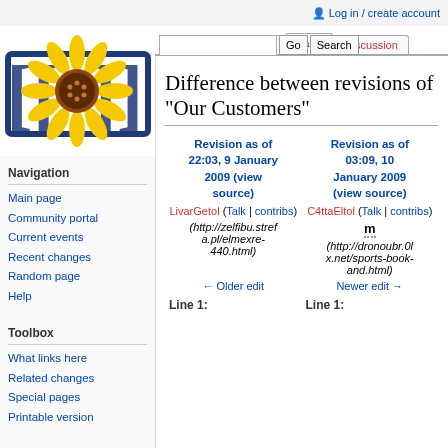Log in / create account
[Figure (logo): Wikipedia logo with sunflower and bracket symbols]
Navigation
Main page
Community portal
Current events
Recent changes
Random page
Help
Toolbox
What links here
Related changes
Special pages
Printable version
Difference between revisions of "Our Customers"
| Revision as of 22:03, 9 January 2009 (view source) | Revision as of 03:09, 10 January 2009 (view source) |
| --- | --- |
| LivarGetol (Talk | contribs) | C4ttaEltol (Talk | contribs) |
| (http://zelfibu.strefa.pl/elmexre-440.html) | m (http://dronoubr.0lx.net/sports-book-and.html) |
| ← Older edit | Newer edit → |
Line 1: Line 1: